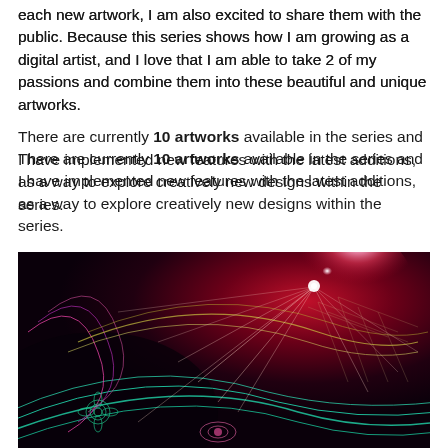each new artwork, I am also excited to share them with the public. Because this series shows how I am growing as a digital artist, and I love that I am able to take 2 of my passions and combine them into these beautiful and unique artworks.
There are currently 10 artworks available in the series and I have implemented new features with the latest additions, as a way to explore creatively new designs within the series.
[Figure (illustration): A colorful digital artwork showing intricate mandala-like patterns and decorative lines in pink, teal, and green against a dark background, with a bright red/pink starburst light effect in the upper right area.]